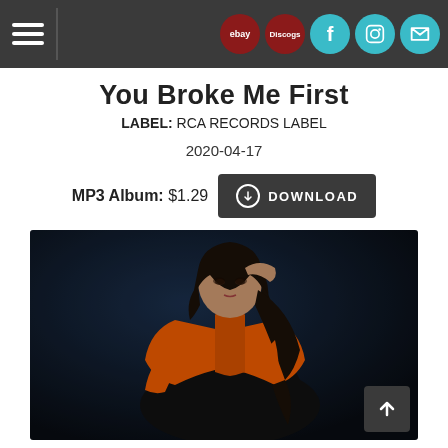ebay | Discogs | Facebook | Instagram | Mail
You Broke Me First
LABEL: RCA RECORDS LABEL
2020-04-17
MP3 Album: $1.29   DOWNLOAD
[Figure (photo): Woman with dark hair wearing an orange jacket, crouching/leaning forward against a dark blue background in a dramatic pose]